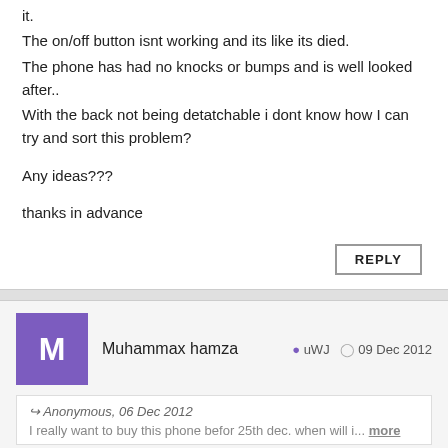it.
The on/off button isnt working and its like its died.
The phone has had no knocks or bumps and is well looked after..
With the back not being detatchable i dont know how I can try and sort this problem?

Any ideas???

thanks in advance
REPLY
Muhammax hamza   uWJ   09 Dec 2012
Anonymous, 06 Dec 2012
I really want to buy this phone befor 25th dec. when will i... more
Price.??? In pakistan i want to get it and anyone tell me howz its